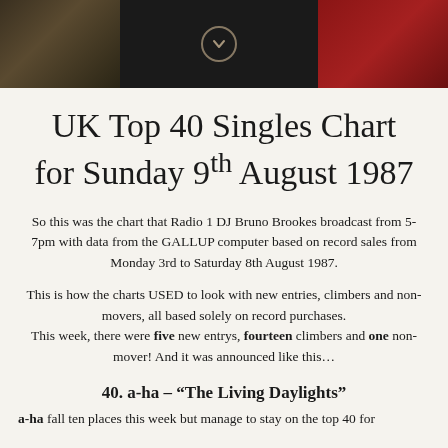[Figure (photo): Dark photographic banner image split into three sections: left shows dark brown/wooden tones, center is very dark with a circular chevron/arrow down icon, right shows dark red fabric or clothing.]
UK Top 40 Singles Chart for Sunday 9th August 1987
So this was the chart that Radio 1 DJ Bruno Brookes broadcast from 5-7pm with data from the GALLUP computer based on record sales from Monday 3rd to Saturday 8th August 1987.
This is how the charts USED to look with new entries, climbers and non-movers, all based solely on record purchases. This week, there were five new entrys, fourteen climbers and one non-mover! And it was announced like this...
40. a-ha – “The Living Daylights”
a-ha fall ten places this week but manage to stay on the top 40 for